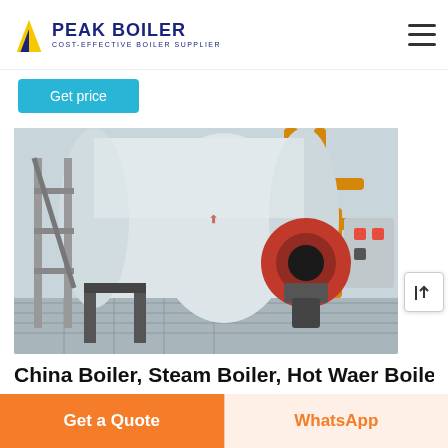[Figure (logo): Peak Boiler logo with triangle icon and text 'PEAK BOILER / COST-EFFECTIVE BOILER SUPPLIER']
Get price
[Figure (photo): Industrial steam boiler in a facility — large white cylindrical boiler with red burner, yellow gas pipes, grey piping framework, and metal grating floor]
China Boiler, Steam Boiler, Hot Waer Boiler
Get a Quote
WhatsApp